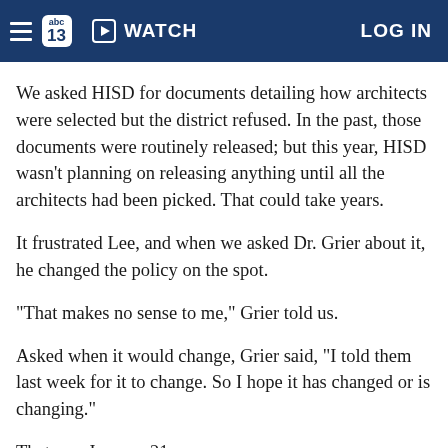abc13 WATCH LOG IN
We asked HISD for documents detailing how architects were selected but the district refused. In the past, those documents were routinely released; but this year, HISD wasn't planning on releasing anything until all the architects had been picked. That could take years.
It frustrated Lee, and when we asked Dr. Grier about it, he changed the policy on the spot.
"That makes no sense to me," Grier told us.
Asked when it would change, Grier said, "I told them last week for it to change. So I hope it has changed or is changing."
That was January 21.